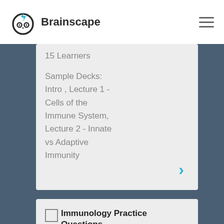[Figure (logo): Brainscape logo with owl/brain icon and text 'Brainscape']
15 Learners
Sample Decks: Intro , Lecture 1 - Cells of the Immune System, Lecture 2 - Innate vs Adaptive Immunity
[Figure (screenshot): Blue right-pointing chevron arrow]
[Figure (illustration): Small image placeholder icon]
Immunology Practice Questions Exam 1-3
Immunology Practice Questions